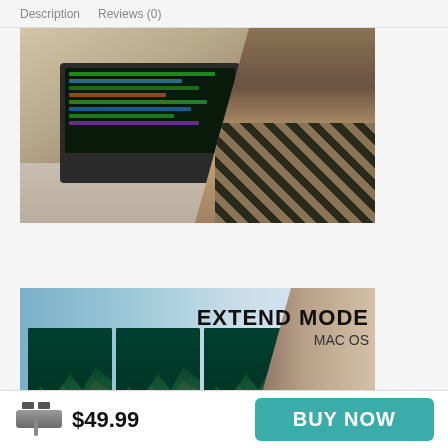Description   Reviews (0)
[Figure (photo): Person in plaid shirt typing on a MacBook laptop connected to a USB-C hub, with an external monitor visible in the background on a wooden desk.]
[Figure (photo): Man with beard looking at multiple monitors displaying trading/data charts. Text overlay reads EXTEND MODE MAC OS.]
$49.99
BUY NOW